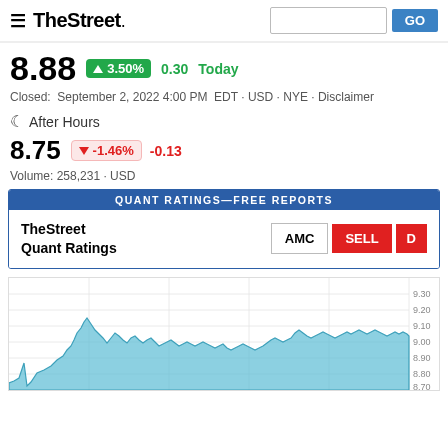TheStreet
8.88  ▲3.50%  0.30  Today
Closed:  September 2, 2022 4:00 PM  EDT · USD · NYE · Disclaimer
After Hours
8.75  ▼-1.46%  -0.13
Volume: 258,231 · USD
| TheStreet Quant Ratings | AMC | SELL | D |
| --- | --- | --- | --- |
[Figure (area-chart): Intraday area chart for AMC stock showing price range roughly 8.70–9.20 on September 2, 2022. Y-axis labels: 9.30, 9.20, 9.10, 9.00, 8.90, 8.80, 8.70. The chart shows a teal/blue filled area chart with a peak around 9.15 in the morning and settling near 8.90 at close.]